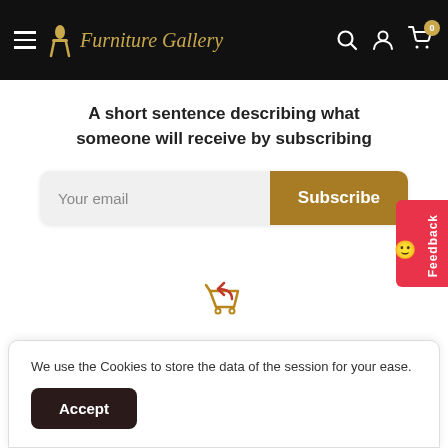Furniture Gallery — navigation header with hamburger menu, search, account, and cart (0 items)
A short sentence describing what someone will receive by subscribing
[Figure (screenshot): Email input field with placeholder 'Your email' and a gold Subscribe button]
[Figure (illustration): Shopping cart with return/undo arrow icon in gold color]
We use the Cookies to store the data of the session for your ease.
Accept